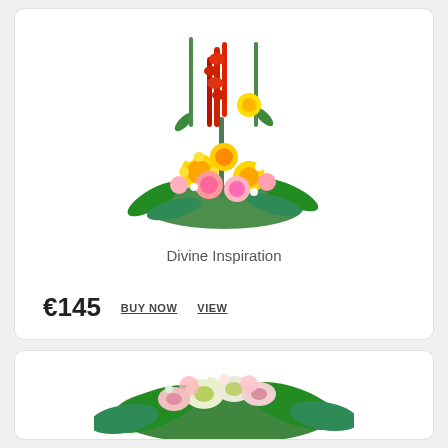[Figure (photo): A colorful flower arrangement called Divine Inspiration, featuring red gladioli, yellow chrysanthemums, pink roses, and green foliage on a white background.]
Divine Inspiration
€145  BUY NOW  VIEW
[Figure (photo): Partial view of a second flower arrangement featuring pink and cream orchids with green tropical foliage, partially cropped at bottom of page.]